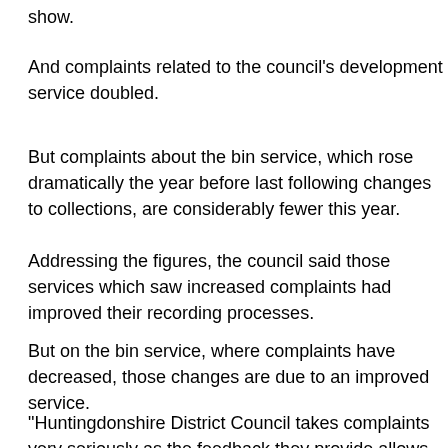show.
And complaints related to the council's development service doubled.
But complaints about the bin service, which rose dramatically the year before last following changes to collections, are considerably fewer this year.
Addressing the figures, the council said those services which saw increased complaints had improved their recording processes.
But on the bin service, where complaints have decreased, those changes are due to an improved service.
"Huntingdonshire District Council takes complaints very seriously as the feedback they provide allows us to ensure that we are...